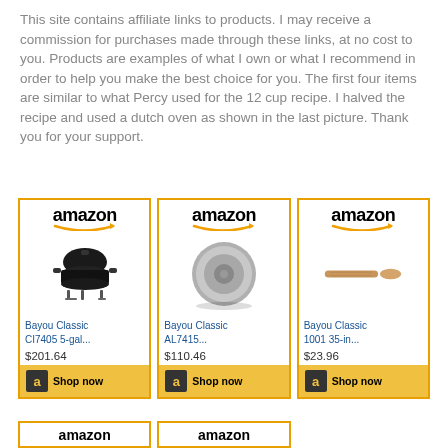This site contains affiliate links to products. I may receive a commission for purchases made through these links, at no cost to you. Products are examples of what I own or what I recommend in order to help you make the best choice for you. The first four items are similar to what Percy used for the 12 cup recipe. I halved the recipe and used a dutch oven as shown in the last picture. Thank you for your support.
[Figure (other): Three Amazon product cards side by side: Bayou Classic CI7405 5-gal... $201.64, Bayou Classic AL7415... $110.46, Bayou Classic 1001 35-in... $23.96, each with a Shop now button. A partial fourth row of Amazon logos is visible at the bottom.]